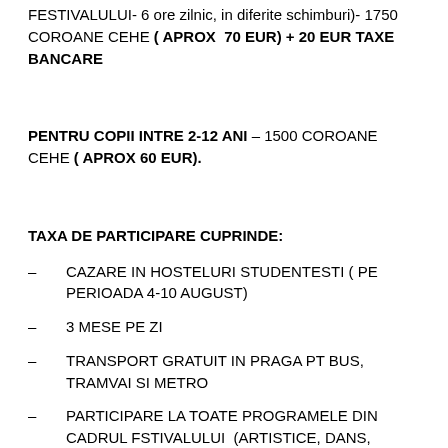FESTIVALULUI- 6 ore zilnic, in diferite schimburi)- 1750 COROANE CEHE ( APROX  70 EUR) + 20 EUR TAXE BANCARE
PENTRU COPII INTRE 2-12 ANI – 1500 COROANE CEHE ( APROX 60 EUR).
TAXA DE PARTICIPARE CUPRINDE:
CAZARE IN HOSTELURI STUDENTESTI ( PE PERIOADA 4-10 AUGUST)
3 MESE PE ZI
TRANSPORT GRATUIT IN PRAGA PT BUS, TRAMVAI SI METRO
PARTICIPARE LA TOATE PROGRAMELE DIN CADRUL FSTIVALULUI  (ARTISTICE, DANS, TEATRU,